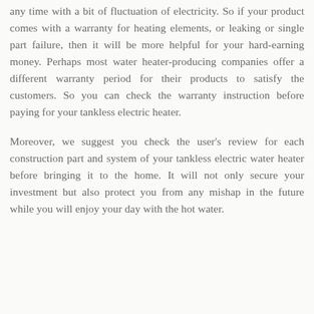any time with a bit of fluctuation of electricity. So if your product comes with a warranty for heating elements, or leaking or single part failure, then it will be more helpful for your hard-earning money. Perhaps most water heater-producing companies offer a different warranty period for their products to satisfy the customers. So you can check the warranty instruction before paying for your tankless electric heater.
Moreover, we suggest you check the user's review for each construction part and system of your tankless electric water heater before bringing it to the home. It will not only secure your investment but also protect you from any mishap in the future while you will enjoy your day with the hot water.